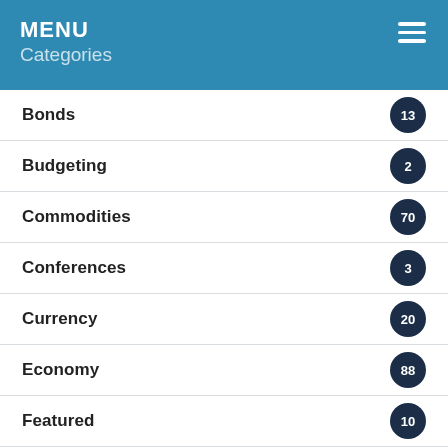MENU
Categories
Bonds 13
Budgeting 2
Commodities 70
Conferences 3
Currency 20
Economy 88
Featured 10
Gold 30